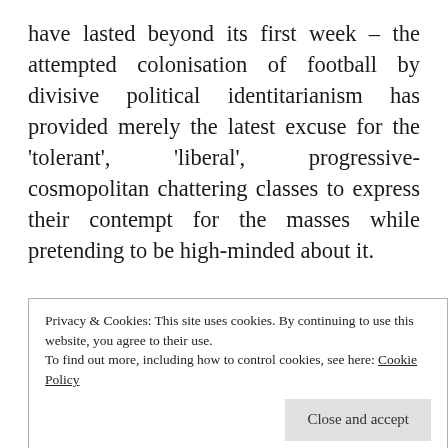have lasted beyond its first week – the attempted colonisation of football by divisive political identitarianism has provided merely the latest excuse for the 'tolerant', 'liberal', progressive-cosmopolitan chattering classes to express their contempt for the masses while pretending to be high-minded about it.

It has become the latest weapon in the oikophobic woke elites' culture war against the uneducated, unenlightened plebs whom they cannot forgive for
Privacy & Cookies: This site uses cookies. By continuing to use this website, you agree to their use.
To find out more, including how to control cookies, see here: Cookie Policy
way excusable.